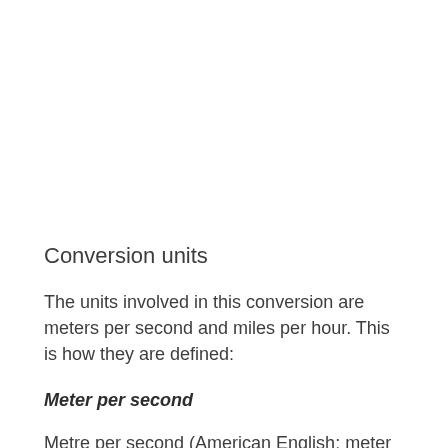Conversion units
The units involved in this conversion are meters per second and miles per hour. This is how they are defined:
Meter per second
Metre per second (American English: meter per second) is a SI derived unit of both speed (scalar) and velocity